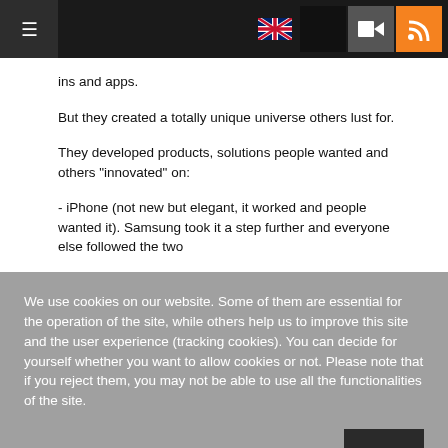≡  [UK flag] [black] [video] [RSS]
ins and apps.
But they created a totally unique universe others lust for.
They developed products, solutions people wanted and others "innovated" on:
- iPhone (not new but elegant, it worked and people wanted it). Samsung took it a step further and everyone else followed the two
- iPad (tablets weren't new but you can't tell our kids that). Samsung and Amazon followed suit and everyone else followed them
We use cookies on our website. Some of them are essential for the operation of the site, while others help us to improve this site and the user experience (tracking cookies). You can decide for yourself whether you want to allow cookies or not. Please note that if you reject them, you may not be able to use all the functionalities of the site.
OK
More information